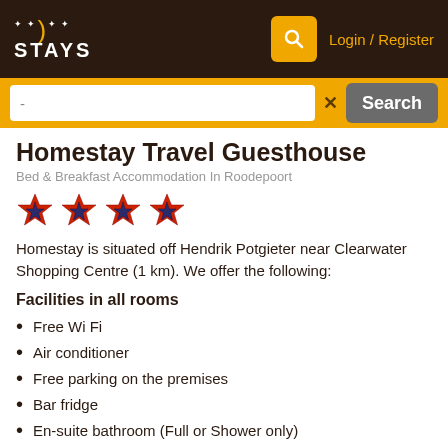STAYS — Login / Register
Homestay Travel Guesthouse
Bed & Breakfast Accommodation In Roodepoort
[Figure (illustration): Four star rating icons (red/orange and dark blue star shapes)]
Homestay is situated off Hendrik Potgieter near Clearwater Shopping Centre (1 km). We offer the following:
Facilities in all rooms
Free Wi Fi
Air conditioner
Free parking on the premises
Bar fridge
En-suite bathroom (Full or Shower only)
Telephone in the room